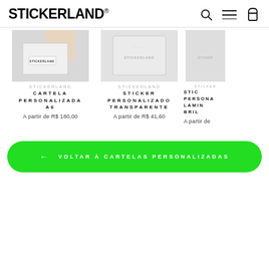STICKERLAND
[Figure (photo): Product image of Cartela Personalizada A6 - hand holding a sticker sheet with Stickerland branding]
CARTELA PERSONALIZADA A6
A partir de R$ 180,00
[Figure (photo): Product image of Sticker Personalizado Transparente with Stickerland watermark]
STICKER PERSONALIZADO TRANSPARENTE
A partir de R$ 41,60
[Figure (photo): Partial product image of Sticker Personalizado Laminado Brilho with Stickerland watermark]
STICKER PERSONALIZADO LAMINADO BRILHO
A partir de
← VOLTAR À CARTELAS PERSONALIZADAS